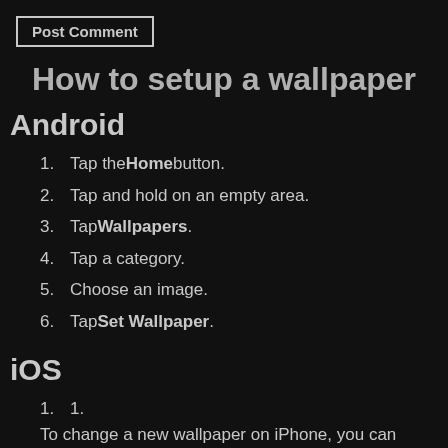Post Comment
How to setup a wallpaper
Android
Tap the Home button.
Tap and hold on an empty area.
Tap Wallpapers.
Tap a category.
Choose an image.
Tap Set Wallpaper.
iOS
To change a new wallpaper on iPhone, you can simply pick [share icons] a photo from your Camera Roll,